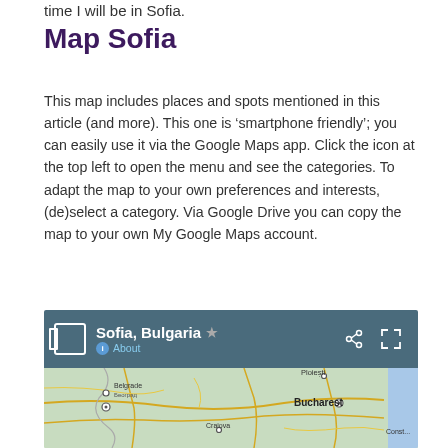time I will be in Sofia.
Map Sofia
This map includes places and spots mentioned in this article (and more). This one is ‘smartphone friendly’; you can easily use it via the Google Maps app. Click the icon at the top left to open the menu and see the categories. To adapt the map to your own preferences and interests, (de)select a category. Via Google Drive you can copy the map to your own My Google Maps account.
[Figure (screenshot): Google Maps embed showing Sofia, Bulgaria with map header including title, share and expand icons, and a map view showing Belgrade, Ploiesti, Bucharest, Craiova, and Constanta regions.]